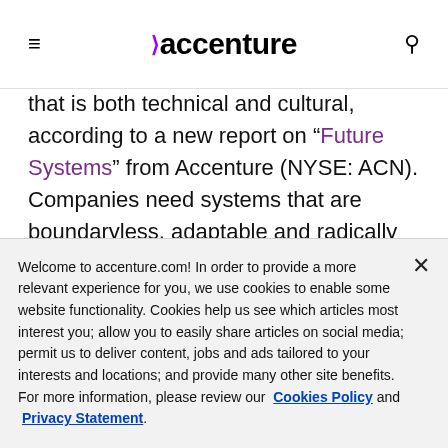accenture
that is both technical and cultural, according to a new report on “Future Systems” from Accentture (NYSE: ACN). Companies need systems that are boundaryless, adaptable and radically human to thrive in a world of constant change and to be able to innovate
Welcome to accenture.com! In order to provide a more relevant experience for you, we use cookies to enable some website functionality. Cookies help us see which articles most interest you; allow you to easily share articles on social media; permit us to deliver content, jobs and ads tailored to your interests and locations; and provide many other site benefits. For more information, please review our Cookies Policy and Privacy Statement.